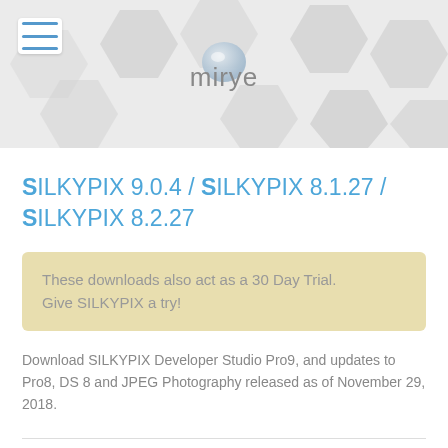[Figure (illustration): Website header with hexagonal tile background pattern in light grey, mirye logo in center, hamburger menu icon top-left]
SILKYPIX 9.0.4 / SILKYPIX 8.1.27 / SILKYPIX 8.2.27
These downloads also act as a 30 Day Trial. Give SILKYPIX a try!
Download SILKYPIX Developer Studio Pro9, and updates to Pro8, DS 8 and JPEG Photography released as of November 29, 2018.
Developer Studio Pro9 Ver.9.0.4 Windows / Mac OS Version Release